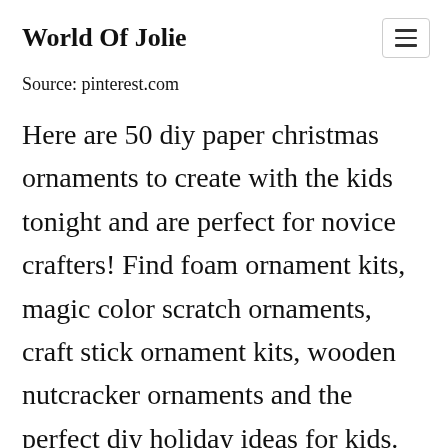World Of Jolie
Source: pinterest.com
Here are 50 diy paper christmas ornaments to create with the kids tonight and are perfect for novice crafters! Find foam ornament kits, magic color scratch ornaments, craft stick ornament kits, wooden nutcracker ornaments and the perfect diy holiday ideas for kids. Complete with turtle dove, french hen, maid a milking,